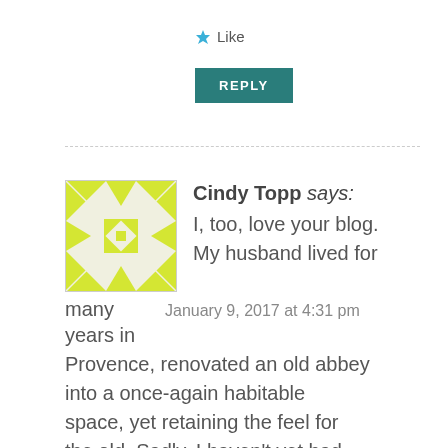★ Like
REPLY
Cindy Topp says: I, too, love your blog. My husband lived for many years in Provence, renovated an old abbey into a once-again habitable space, yet retaining the feel for the old. Sadly, I haven't yet had the privilege to see Provence through his eyes. I'd love to at
January 9, 2017 at 4:31 pm